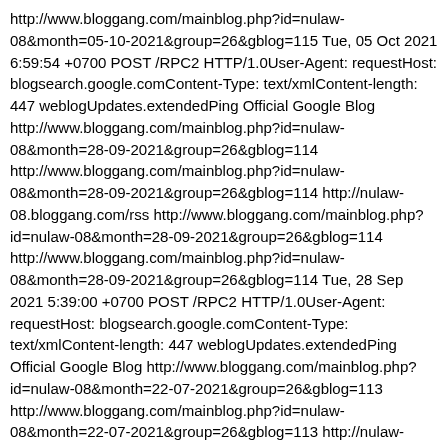http://www.bloggang.com/mainblog.php?id=nulaw-08&month=05-10-2021&group=26&gblog=115 Tue, 05 Oct 2021 6:59:54 +0700 POST /RPC2 HTTP/1.0User-Agent: requestHost: blogsearch.google.comContent-Type: text/xmlContent-length: 447 weblogUpdates.extendedPing Official Google Blog http://www.bloggang.com/mainblog.php?id=nulaw-08&month=28-09-2021&group=26&gblog=114 http://www.bloggang.com/mainblog.php?id=nulaw-08&month=28-09-2021&group=26&gblog=114 http://nulaw-08.bloggang.com/rss http://www.bloggang.com/mainblog.php?id=nulaw-08&month=28-09-2021&group=26&gblog=114 http://www.bloggang.com/mainblog.php?id=nulaw-08&month=28-09-2021&group=26&gblog=114 Tue, 28 Sep 2021 5:39:00 +0700 POST /RPC2 HTTP/1.0User-Agent: requestHost: blogsearch.google.comContent-Type: text/xmlContent-length: 447 weblogUpdates.extendedPing Official Google Blog http://www.bloggang.com/mainblog.php?id=nulaw-08&month=22-07-2021&group=26&gblog=113 http://www.bloggang.com/mainblog.php?id=nulaw-08&month=22-07-2021&group=26&gblog=113 http://nulaw-08.bloggang.com/rss http://www.bloggang.com/mainblog.php?id=nulaw-08&month=22-07-2021&group=26&gblog=113 http://www.bloggang.com/mainblog.php?id=nulaw-08&month=22-07-2021&group=26&gblog=113 Thu, 22 Jul 2021 8:06:28 +0700 POST /RPC2 HTTP/1.0User-Agent: requestHost: